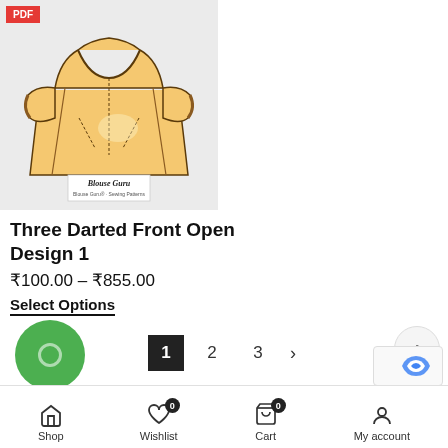[Figure (illustration): Golden/yellow saree blouse with short sleeves, front view illustration with three darts. 'Blouse Guru' watermark at the bottom. PDF badge in top-left corner of the product thumbnail.]
Three Darted Front Open Design 1
₹100.00 – ₹855.00
Select Options
1  2  3  >
[Figure (screenshot): Bottom navigation bar with Shop, Wishlist (badge 0), Cart (badge 0), My account icons]